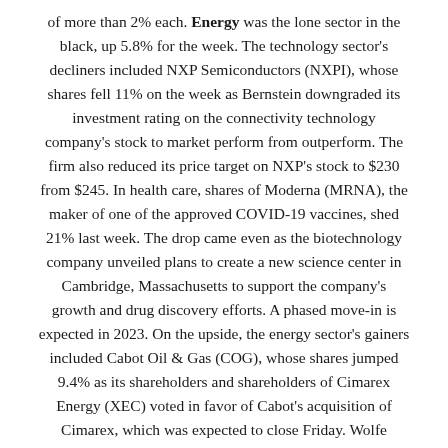of more than 2% each. Energy was the lone sector in the black, up 5.8% for the week. The technology sector's decliners included NXP Semiconductors (NXPI), whose shares fell 11% on the week as Bernstein downgraded its investment rating on the connectivity technology company's stock to market perform from outperform. The firm also reduced its price target on NXP's stock to $230 from $245. In health care, shares of Moderna (MRNA), the maker of one of the approved COVID-19 vaccines, shed 21% last week. The drop came even as the biotechnology company unveiled plans to create a new science center in Cambridge, Massachusetts to support the company's growth and drug discovery efforts. A phased move-in is expected in 2023. On the upside, the energy sector's gainers included Cabot Oil & Gas (COG), whose shares jumped 9.4% as its shareholders and shareholders of Cimarex Energy (XEC) voted in favor of Cabot's acquisition of Cimarex, which was expected to close Friday. Wolfe Research upgraded its investment rating on Cabot's shares to outperform from peer perform while raising